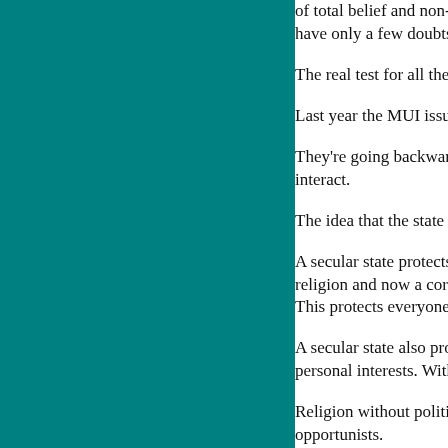of total belief and non-belief there are many pos... have only a few doubts – tomorrow, many.
The real test for all theologians is to constantly i...
Last year the MUI issued an edict against plurali...
They're going backwards if they think they're st... interact.
The idea that the state should be more Islamic is...
A secular state protects minorities. If France did... religion and now a core value in French culture)... This protects everyone – but many Moslems don...
A secular state also protects by keeping politics ... personal interests. Without religion, political deb...
Religion without politics attracts only those genu... opportunists.
In Indonesia the majority follow Islam, and the s... religions.
We should learn from each other...The...